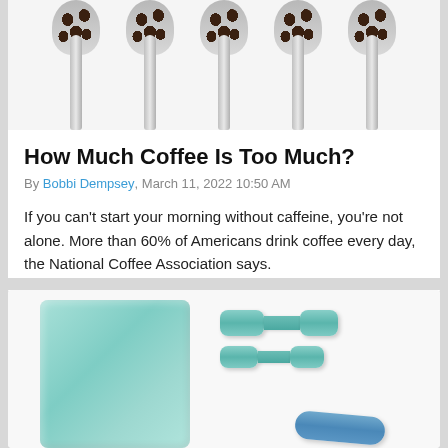[Figure (photo): Four silver spoons filled with dark coffee beans arranged in a row against a white background]
How Much Coffee Is Too Much?
By Bobbi Dempsey, March 11, 2022 10:50 AM
If you can't start your morning without caffeine, you're not alone. More than 60% of Americans drink coffee every day, the National Coffee Association says.
[Figure (photo): A teal/mint colored towel folded flat on the left, two teal dumbbells stacked on the right, and a blue foam roller at the bottom right, all on a white background]